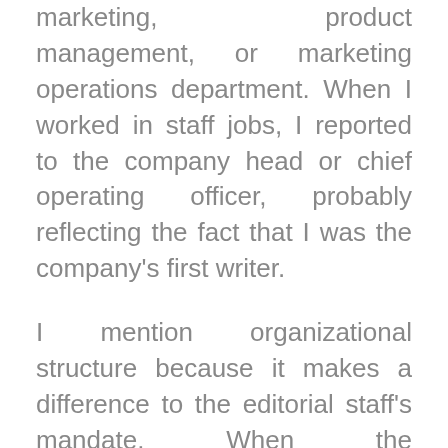marketing, product management, or marketing operations department. When I worked in staff jobs, I reported to the company head or chief operating officer, probably reflecting the fact that I was the company's first writer.
I mention organizational structure because it makes a difference to the editorial staff's mandate. When the organizational structure communicates that writing is an important function, the quality of a firm's writing can benefit. That's especially true if senior